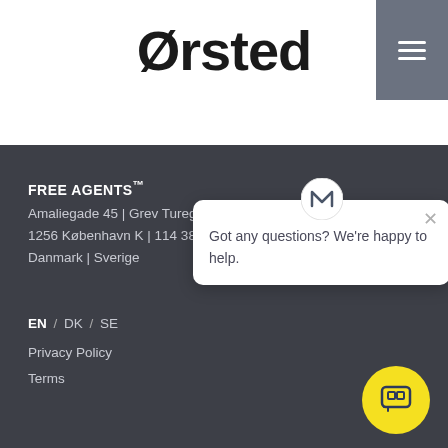Ørsted
[Figure (other): Hamburger menu button (three horizontal lines) in a grey square, top right corner]
FREE AGENTS™
Amaliegade 45 | Grev Turegatan 30
1256 København K | 114 38 Stockholm
Danmark | Sverige
EN / DK / SE
Privacy Policy
Terms
[Figure (other): Chat widget popup with M-shaped logo icon at top and text: Got any questions? We're happy to help. With a close X button. A yellow circular chat button appears at bottom right.]